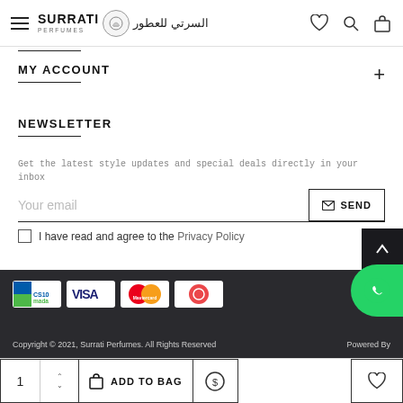Surrati Perfumes — site header with hamburger menu, logo, and icons (heart, search, bag)
MY ACCOUNT
NEWSLETTER
Get the latest style updates and special deals directly in your inbox
Your email
I have read and agree to the Privacy Policy
[Figure (other): Payment method logos: mada, Visa, Mastercard, and another card brand]
Copyright © 2021, Surrati Perfumes. All Rights Reserved   Powered By ...